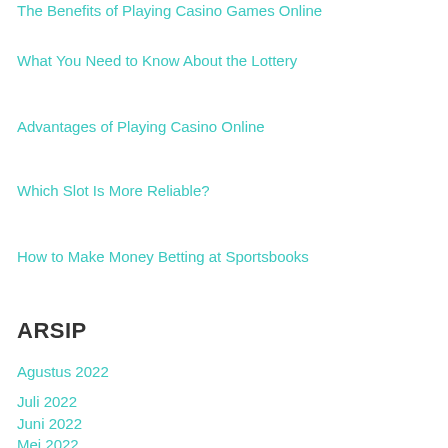The Benefits of Playing Casino Games Online
What You Need to Know About the Lottery
Advantages of Playing Casino Online
Which Slot Is More Reliable?
How to Make Money Betting at Sportsbooks
ARSIP
Agustus 2022
Juli 2022
Juni 2022
Mei 2022